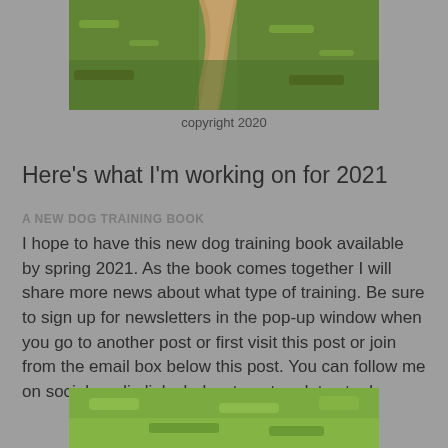[Figure (photo): Outdoor nature photo showing a dirt path through green grass and vegetation, viewed from above]
copyright 2020
Here's what I'm working on for 2021
A NEW DOG TRAINING BOOK
I hope to have this new dog training book available by spring 2021. As the book comes together I will share more news about what type of training. Be sure to sign up for newsletters in the pop-up window when you go to another post or first visit this post or join from the email box below this post. You can follow me on social media links below to get updates too!
[Figure (photo): Outdoor nature photo showing green grass and vegetation, partially visible at bottom of page]